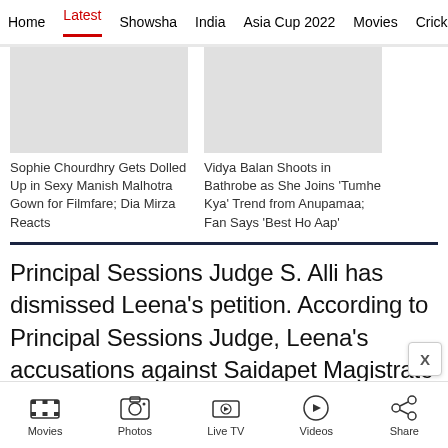Home | Latest | Showsha | India | Asia Cup 2022 | Movies | Cricket
[Figure (photo): Grey placeholder image card for Sophie Chourdhry Filmfare article]
Sophie Chourdhry Gets Dolled Up in Sexy Manish Malhotra Gown for Filmfare; Dia Mirza Reacts
[Figure (photo): Grey placeholder image card for Vidya Balan Anupamaa article]
Vidya Balan Shoots in Bathrobe as She Joins 'Tumhe Kya' Trend from Anupamaa; Fan Says 'Best Ho Aap'
Principal Sessions Judge S. Alli has dismissed Leena’s petition. According to Principal Sessions Judge, Leena’s accusations against Saidapet Magistrate Court were baseless.
Movies | Photos | Live TV | Videos | Share